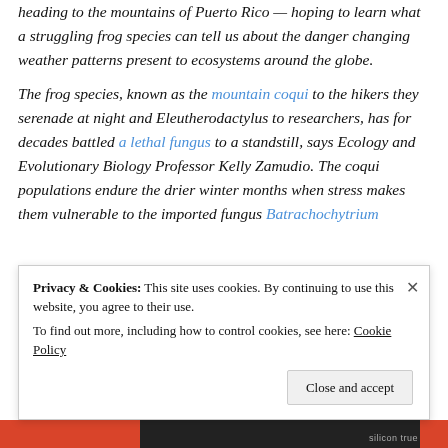heading to the mountains of Puerto Rico — hoping to learn what a struggling frog species can tell us about the danger changing weather patterns present to ecosystems around the globe.
The frog species, known as the mountain coqui to the hikers they serenade at night and Eleutherodactylus to researchers, has for decades battled a lethal fungus to a standstill, says Ecology and Evolutionary Biology Professor Kelly Zamudio. The coqui populations endure the drier winter months when stress makes them vulnerable to the imported fungus Batrachochytrium
Privacy & Cookies: This site uses cookies. By continuing to use this website, you agree to their use. To find out more, including how to control cookies, see here: Cookie Policy